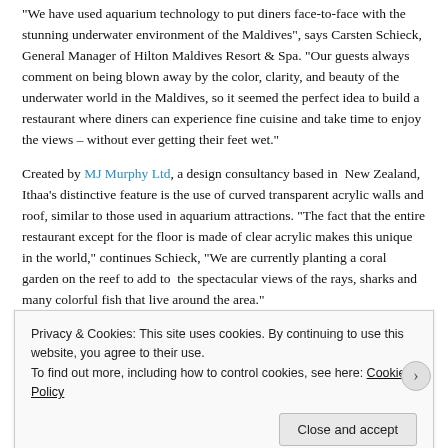“We have used aquarium technology to put diners face-to-face with the stunning underwater environment of the Maldives”, says Carsten Schieck, General Manager of Hilton Maldives Resort & Spa. “Our guests always comment on being blown away by the color, clarity, and beauty of the underwater world in the Maldives, so it seemed the perfect idea to build a restaurant where diners can experience fine cuisine and take time to enjoy the views – without ever getting their feet wet.”
Created by MJ Murphy Ltd, a design consultancy based in  New Zealand, Ithaa’s distinctive feature is the use of curved transparent acrylic walls and roof, similar to those used in aquarium attractions. “The fact that the entire restaurant except for the floor is made of clear acrylic makes this unique in the world,” continues Schieck, “We are currently planting a coral garden on the reef to add to  the spectacular views of the rays, sharks and many colorful fish that live around the area.”
Privacy & Cookies: This site uses cookies. By continuing to use this website, you agree to their use.
To find out more, including how to control cookies, see here: Cookie Policy